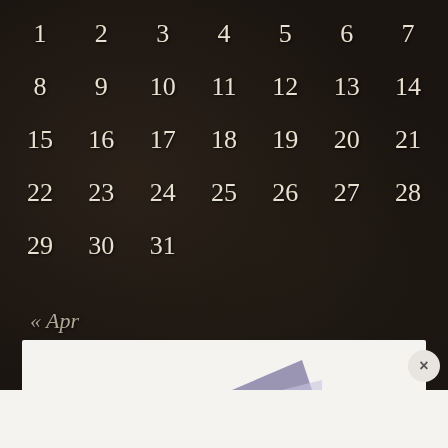| 1 | 2 | 3 | 4 | 5 | 6 | 7 |
| 8 | 9 | 10 | 11 | 12 | 13 | 14 |
| 15 | 16 | 17 | 18 | 19 | 20 | 21 |
| 22 | 23 | 24 | 25 | 26 | 27 | 28 |
| 29 | 30 | 31 |  |  |  |  |
« Apr
[Figure (illustration): Triangular purple/lavender shape on white background, partial advertisement image]
Advertisements
[Figure (other): Advertisement banner: Launch your online course with WordPress — Learn More]